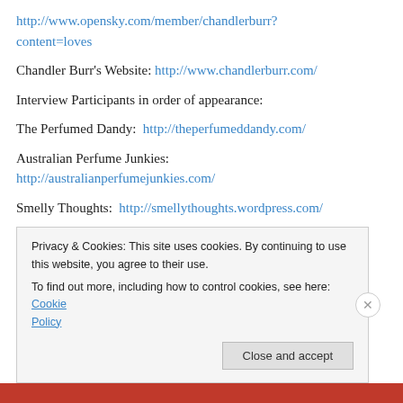http://www.opensky.com/member/chandlerburr?content=loves
Chandler Burr's Website: http://www.chandlerburr.com/
Interview Participants in order of appearance:
The Perfumed Dandy:  http://theperfumeddandy.com/
Australian Perfume Junkies:
http://australianperfumejunkies.com/
Smelly Thoughts:  http://smellythoughts.wordpress.com/
Privacy & Cookies: This site uses cookies. By continuing to use this website, you agree to their use.
To find out more, including how to control cookies, see here: Cookie Policy
Close and accept